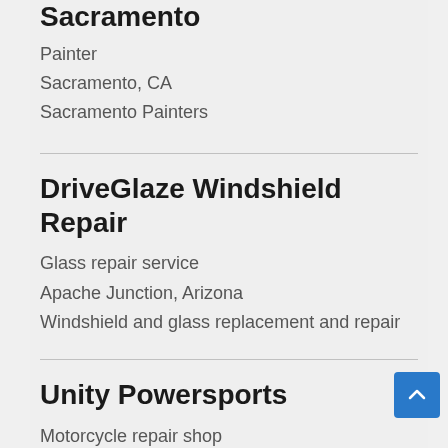Sacramento
Painter
Sacramento, CA
Sacramento Painters
DriveGlaze Windshield Repair
Glass repair service
Apache Junction, Arizona
Windshield and glass replacement and repair
Unity Powersports
Motorcycle repair shop
Brooksville, Florida